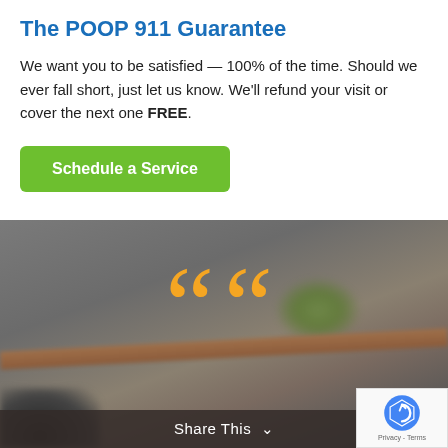The POOP 911 Guarantee
We want you to be satisfied — 100% of the time. Should we ever fall short, just let us know. We'll refund your visit or cover the next one FREE.
[Figure (other): Green button with white bold text reading 'Schedule a Service']
[Figure (photo): Gray blurred background photo with large golden quotation marks overlay, blurred plant and branch visible, dark animal silhouette at bottom left]
Share This ∨